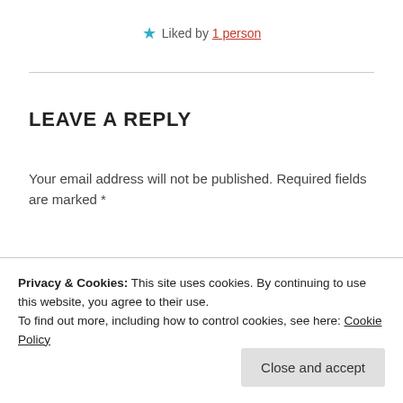★ Liked by 1 person
LEAVE A REPLY
Your email address will not be published. Required fields are marked *
Comment *
Privacy & Cookies: This site uses cookies. By continuing to use this website, you agree to their use.
To find out more, including how to control cookies, see here: Cookie Policy